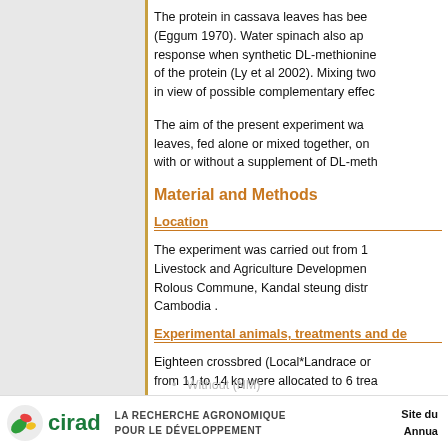The protein in cassava leaves has been (Eggum 1970). Water spinach also ap response when synthetic DL-methionine of the protein (Ly et al 2002). Mixing two in view of possible complementary effec
The aim of the present experiment wa leaves, fed alone or mixed together, on with or without a supplement of DL-meth
Material and Methods
Location
The experiment was carried out from 1 Livestock and Agriculture Developmen Rolous Commune, Kandal steung distr Cambodia .
Experimental animals, treatments and de
Eighteen crossbred (Local*Landrace or from 11 to 14 kg were allocated to 6 trea
Methionine:
With (M)
Without (NM)
cirad | LA RECHERCHE AGRONOMIQUE POUR LE DÉVELOPPEMENT | Site du | Annua